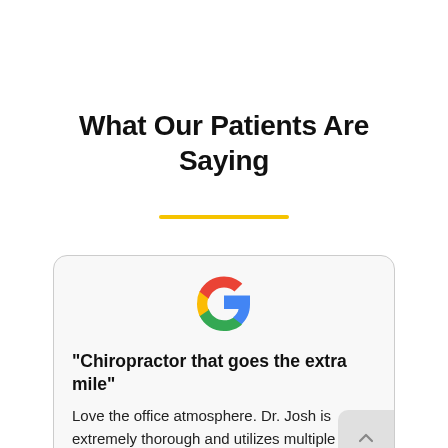What Our Patients Are Saying
[Figure (logo): Google 'G' logo in full color (red, yellow, green, blue)]
"Chiropractor that goes the extra mile"
Love the office atmosphere. Dr. Josh is extremely thorough and utilizes multiple different